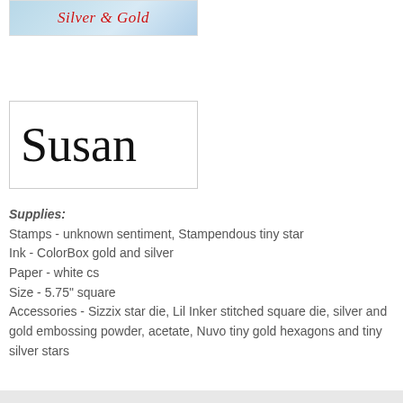[Figure (illustration): Decorative banner image with light blue winter background showing cursive text 'Silver & Gold' in red and silver script]
[Figure (illustration): White box with cursive signature 'Susan' in large black script font]
Supplies:
Stamps - unknown sentiment, Stampendous tiny star
Ink - ColorBox gold and silver
Paper - white cs
Size - 5.75" square
Accessories - Sizzix star die, Lil Inker stitched square die, silver and gold embossing powder, acetate, Nuvo tiny gold hexagons and tiny silver stars